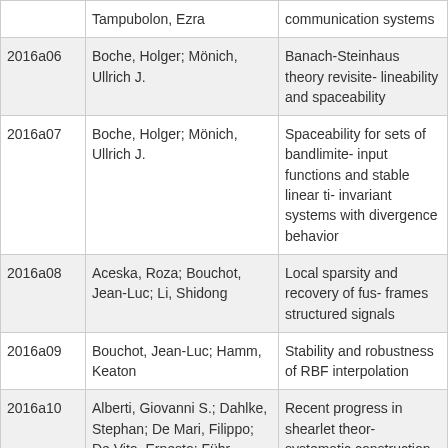| ID | Authors | Title |
| --- | --- | --- |
|  | Tampubolon, Ezra | communication systems |
| 2016a06 | Boche, Holger; Mönich, Ullrich J. | Banach-Steinhaus theory revisited lineability and spaceability |
| 2016a07 | Boche, Holger; Mönich, Ullrich J. | Spaceability for sets of bandlimited input functions and stable linear ti- invariant systems with divergence behavior |
| 2016a08 | Aceska, Roza; Bouchot, Jean-Luc; Li, Shidong | Local sparsity and recovery of fus- frames structured signals |
| 2016a09 | Bouchot, Jean-Luc; Hamm, Keaton | Stability and robustness of RBF interpolation |
| 2016a10 | Alberti, Giovanni S.; Dahlke, Stephan; De Mari, Filippo; De Vito, Ernesto; Führ, Hartmut | Recent progress in shearlet theory: systematic construction of shearle- dilation groups, characterization o- wavefront sets, and new embeddi- |
| 2016a11 | Küng, Richard; Jung, Peter | Robust nonnegative sparse recov- and the nullspace property of 0/1 |